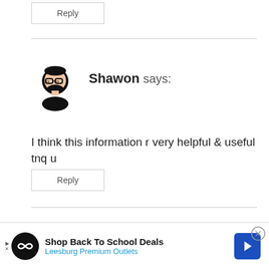Reply
[Figure (illustration): Avatar icon of a person with glasses and beard (Shawon)]
Shawon says:
I think this information r very helpful & useful tnq u
Reply
[Figure (illustration): Avatar icon of a person with glasses and beard (Yadu)]
Yadu says:
Informative
[Figure (infographic): Advertisement banner: Shop Back To School Deals, Leesburg Premium Outlets with navigation arrow icon and close button]